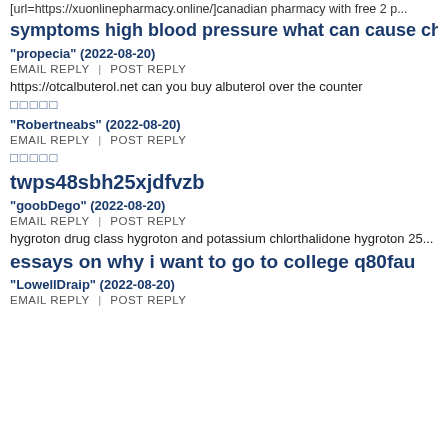[url=https://xuonlinepharmacy.online/]canadian pharmacy with free 2 p...
symptoms high blood pressure what can cause chest pai...
"propecia" (2022-08-20)
EMAIL REPLY  |  POST REPLY
https://otcalbuterol.net can you buy albuterol over the counter
□□□□□
"Robertneabs" (2022-08-20)
EMAIL REPLY  |  POST REPLY
□□□□□
twps48sbh25xjdfvzb
"goobDego" (2022-08-20)
EMAIL REPLY  |  POST REPLY
hygroton drug class hygroton and potassium chlorthalidone hygroton 25...
essays on why i want to go to college q80fau
"LowellDraip" (2022-08-20)
EMAIL REPLY  |  POST REPLY